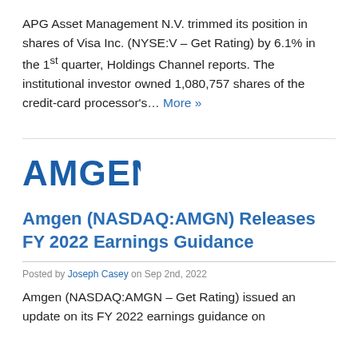APG Asset Management N.V. trimmed its position in shares of Visa Inc. (NYSE:V – Get Rating) by 6.1% in the 1st quarter, Holdings Channel reports. The institutional investor owned 1,080,757 shares of the credit-card processor's… More »
[Figure (logo): Amgen logo in blue bold text]
Amgen (NASDAQ:AMGN) Releases FY 2022 Earnings Guidance
Posted by Joseph Casey on Sep 2nd, 2022
Amgen (NASDAQ:AMGN – Get Rating) issued an update on its FY 2022 earnings guidance on